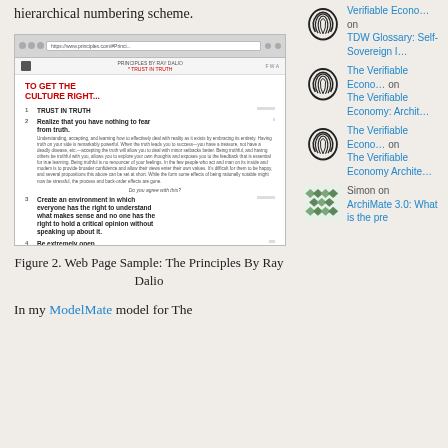hierarchical numbering scheme.
[Figure (screenshot): Browser screenshot of Principles by Ray Dalio website showing a list of culture principles including: 1. TRUST IN TRUTH, 2. Realize that you have nothing to fear from truth, 3. Create an environment in which everyone has the right to understand what makes sense and no one has the right to hold a critical opinion without speaking up about it, 4. Be extremely open.]
Figure 2. Web Page Sample: The Principles By Ray Dalio
In my ModelMate model for The
Verifiable Econo… on TDW Glossary: Self-Sovereign I…
The Verifiable Econo… on The Verifiable Economy: Archit…
The Verifiable Econo… on The Verifiable Economy Archite…
Simon on ArchiMate 3.0: What is the pre